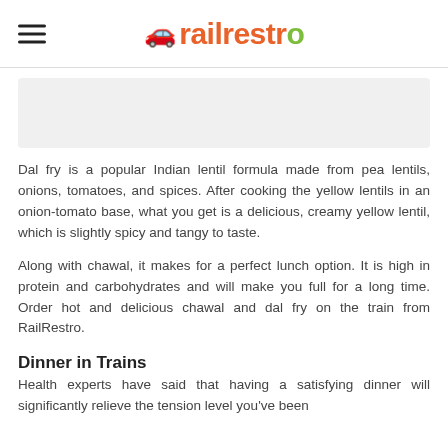railrestro
[Figure (photo): Image placeholder area showing a food item, likely dal fry]
Dal fry is a popular Indian lentil formula made from pea lentils, onions, tomatoes, and spices. After cooking the yellow lentils in an onion-tomato base, what you get is a delicious, creamy yellow lentil, which is slightly spicy and tangy to taste.
Along with chawal, it makes for a perfect lunch option. It is high in protein and carbohydrates and will make you full for a long time. Order hot and delicious chawal and dal fry on the train from RailRestro.
Dinner in Trains
Health experts have said that having a satisfying dinner will significantly relieve the tension level you've been